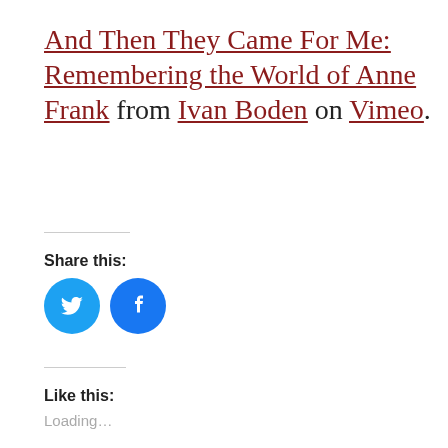And Then They Came For Me: Remembering the World of Anne Frank from Ivan Boden on Vimeo.
Share this:
[Figure (other): Twitter and Facebook social share icon buttons — two circular blue icons with bird and 'f' logos]
Like this:
Loading…
UNCATEGORIZED